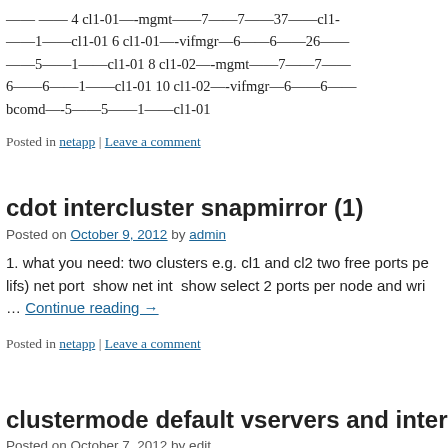—— —— 4 cl1-01—-mgmt——7——7——37——cl1-01——1——cl1-01 6 cl1-01—-vifmgr—6——6——26—— ——5——1——cl1-01 8 cl1-02—-mgmt——7——7——6——6——1——cl1-01 10 cl1-02—-vifmgr—6——6—— bcomd—-5——5——1——cl1-01
Posted in netapp | Leave a comment
cdot intercluster snapmirror (1)
Posted on October 9, 2012 by admin
1. what you need: two clusters e.g. cl1 and cl2 two free ports per node (for intercluster lifs) net port  show net int  show select 2 ports per node and wri… Continue reading →
Posted in netapp | Leave a comment
clustermode default vservers and interfa…
Posted on October 7, 2012 by edit